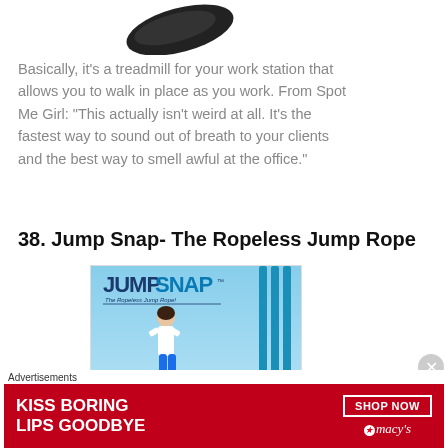[Figure (photo): Partial view of a dark-colored treadmill desk product, cropped at top]
Basically, it's a treadmill for your work station that allows you to walk in place as you work. From Spot Me Girl: “This actually isn't weird at all. It’s the fastest way to sound out of breath to your clients and the best way to smell awful at the office.”
38. Jump Snap- The Ropeless Jump Rope
[Figure (photo): JumpSnap product advertisement showing a woman jumping rope without a rope, with the JumpSnap logo and tagline 'The Ropeless Jump Rope!']
[Figure (photo): Advertisement banner: KISS BORING LIPS GOODBYE - SHOP NOW - Macy's, showing a woman's face with red lipstick]
Advertisements